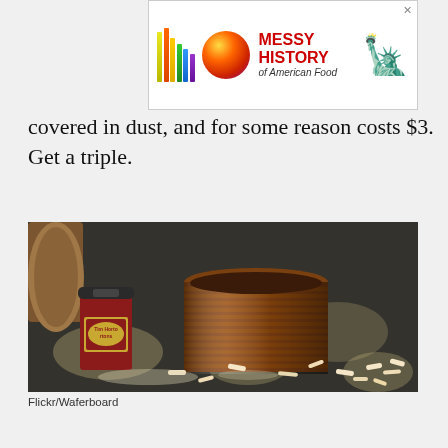[Figure (other): Advertisement banner for 'Messy History of American Food' featuring rainbow bars, a colorful sphere, text logo, and Statue of Liberty image]
covered in dust, and for some reason costs $3. Get a triple.
[Figure (photo): A Tim Hortons coffee cup next to a copper/bronze ribbed bucket/container on a dusty ground surface with cigarette butts scattered around, in dappled sunlight]
Flickr/Waferboard